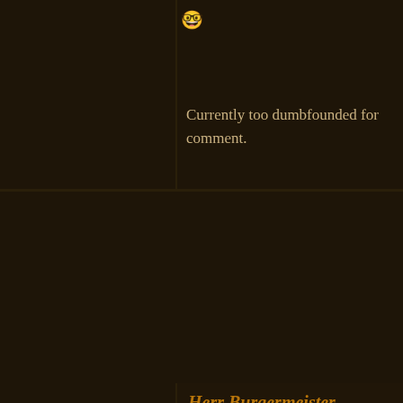[Figure (other): Emoji face icon (dumbfounded/surprised face)]
Currently too dumbfounded for comment.
6
Herr Burgermeister
January 4, 2012 – 11:21 AM
Liking this new look for Maelcolm. I agree with Co.

And having beenthere, done that, wore out the tee sh here, with the test. There comes a point in a flailing the pot. Iylaine virutally locked the door behind him loved Vash. So, what is a person who has been told t that declaration is/was. Best way to do that? If a bab well cinches the matter. Cold to be sure, un undenya I do believe he will support his daughter, but he's no Maelcolm if Maelcolm chooses to divorce her.